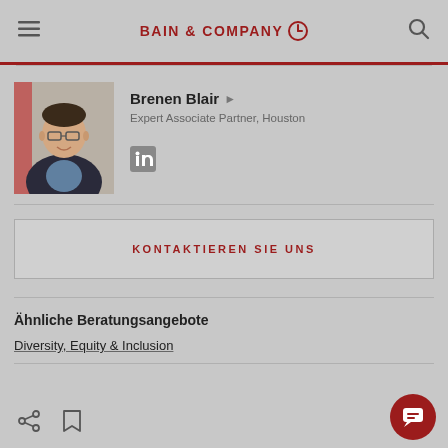BAIN & COMPANY
[Figure (photo): Headshot photo of Brenen Blair, a man wearing glasses and a dark suit with a blue shirt, smiling, against a light background]
Brenen Blair ▶
Expert Associate Partner, Houston
KONTAKTIEREN SIE UNS
Ähnliche Beratungsangebote
Diversity, Equity & Inclusion